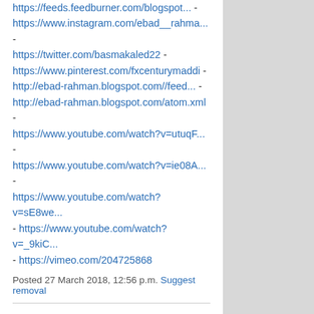https://feeds.feedburner.com/blogspot... - https://www.instagram.com/ebad__rahma... - https://twitter.com/basmakaled22 - https://www.pinterest.com/fxcenturymaddi - http://ebad-rahman.blogspot.com//feed... - http://ebad-rahman.blogspot.com/atom.xml - https://www.youtube.com/watch?v=utuqF... - https://www.youtube.com/watch?v=ie08A... - https://www.youtube.com/watch?v=sE8we... - https://www.youtube.com/watch?v=_9kiC... - https://vimeo.com/204725868
Posted 27 March 2018, 12:56 p.m. Suggest removal
onedollarwebhostings says...
I need to find. Your article provides useful information that and **[$1 web Hosting][1]** I am looking for. I will often visit this site.
[1]: https://www.webhostingonedollar.com/
Posted 29 March 2018, 2:56 a.m. Suggest removal
erothermbemo says...